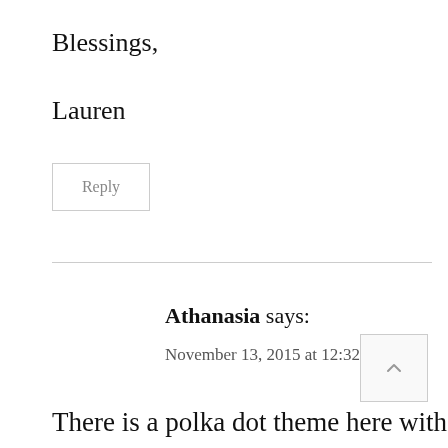Blessings,
Lauren
Reply
Athanasia says:
November 13, 2015 at 12:32 am
There is a polka dot theme here with 4 of